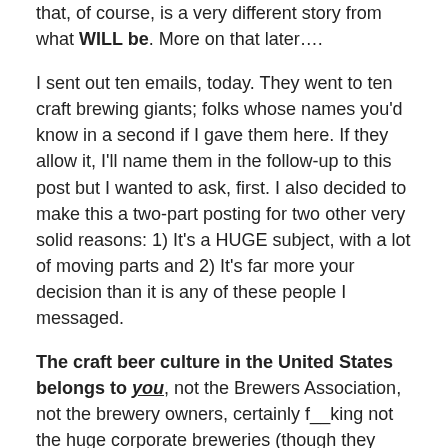that, of course, is a very different story from what WILL be. More on that later….
I sent out ten emails, today. They went to ten craft brewing giants; folks whose names you'd know in a second if I gave them here. If they allow it, I'll name them in the follow-up to this post but I wanted to ask, first. I also decided to make this a two-part posting for two other very solid reasons: 1) It's a HUGE subject, with a lot of moving parts and 2) It's far more your decision than it is any of these people I messaged.
The craft beer culture in the United States belongs to you, not the Brewers Association, not the brewery owners, certainly f__king not the huge corporate breweries (though they have yet to surrender the century-old communal delusion that it does), and not even the brewers – both Rock Star and Relatively Obscure – who actually produce